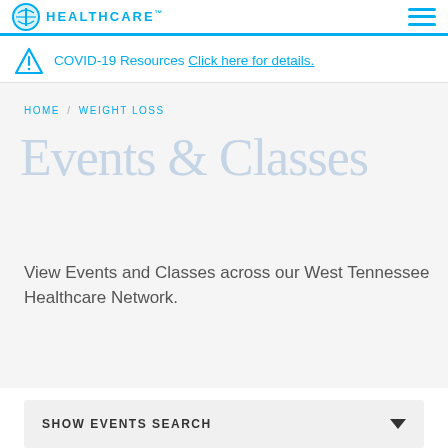HEALTHCARE
COVID-19 Resources Click here for details.
HOME / WEIGHT LOSS
Events & Classes
View Events and Classes across our West Tennessee Healthcare Network.
SHOW EVENTS SEARCH